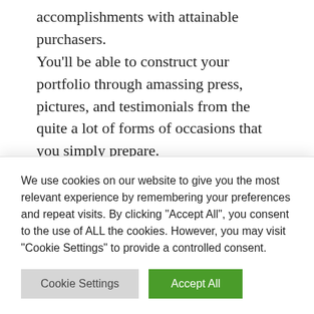accomplishments with attainable purchasers. You'll be able to construct your portfolio through amassing press, pictures, and testimonials from the quite a lot of forms of occasions that you simply prepare.
Take Motion Nowadays to Turn into a Nice Tournament Planner
Should you've been questioning what you want to
We use cookies on our website to give you the most relevant experience by remembering your preferences and repeat visits. By clicking "Accept All", you consent to the use of ALL the cookies. However, you may visit "Cookie Settings" to provide a controlled consent.